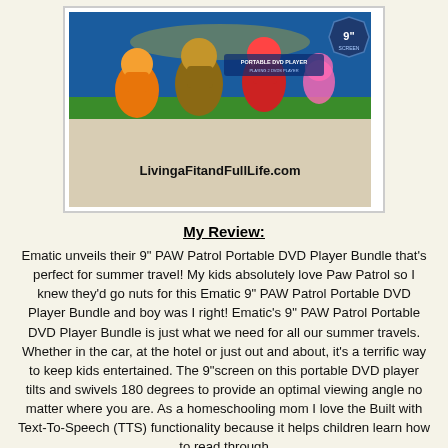[Figure (photo): Photo of PAW Patrol Portable DVD Player box with characters on a blue background, sitting on a light surface. Watermark reads LivingaFitandFullLife.com]
My Review:
Ematic unveils their 9" PAW Patrol Portable DVD Player Bundle that's perfect for summer travel! My kids absolutely love Paw Patrol so I knew they'd go nuts for this Ematic 9" PAW Patrol Portable DVD Player Bundle and boy was I right! Ematic's 9" PAW Patrol Portable DVD Player Bundle is just what we need for all our summer travels. Whether in the car, at the hotel or just out and about, it's a terrific way to keep kids entertained. The 9"screen on this portable DVD player tilts and swivels 180 degrees to provide an optimal viewing angle no matter where you are. As a homeschooling mom I love the Built with Text-To-Speech (TTS) functionality because it helps children learn how to read through